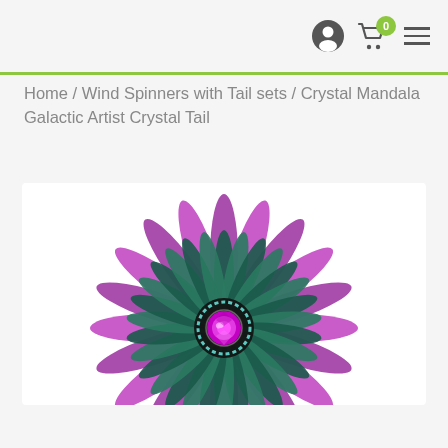Navigation bar with user icon, cart (0 items), and menu icon
Home / Wind Spinners with Tail sets / Crystal Mandala Galactic Artist Crystal Tail
[Figure (photo): Crystal Mandala Galactic Artist Crystal Tail wind spinner product photo — a circular mandala spinner with purple/magenta outer petals, teal/dark green middle ring with feather-like texture, and a magenta crystal center jewel, viewed from above, cropped at the bottom.]